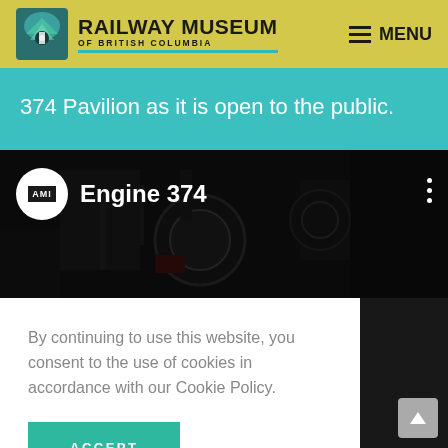[Figure (logo): Railway Museum of British Columbia logo with mountain graphic icon and teal underline, on yellow background]
RAILWAY MUSEUM OF BRITISH COLUMBIA
MENU
374 Pavilion as it is open to the public.
[Figure (photo): Dark photo of a steam locomotive engine (Engine 374) in a pavilion interior, with AMI logo overlay and Engine 374 label]
By continuing to use this website, you consent to the use of cookies in accordance with our Cookie Policy.
ACCEPT